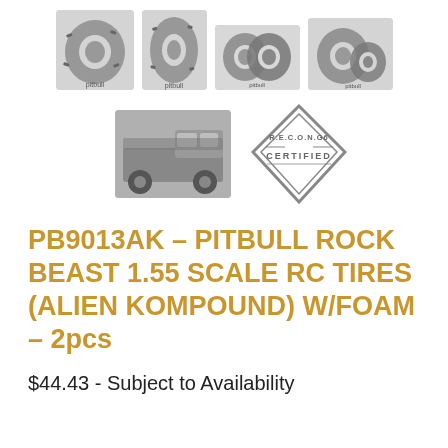[Figure (photo): Four product photos of RC tires/tire sets shown in a row at the top]
[Figure (photo): RC truck vehicle photo and RECON G6 CERTIFIED diamond badge logo]
PB9013AK - PITBULL ROCK BEAST 1.55 SCALE RC TIRES (ALIEN KOMPOUND) W/FOAM - 2pcs
$44.43 - Subject to Availability